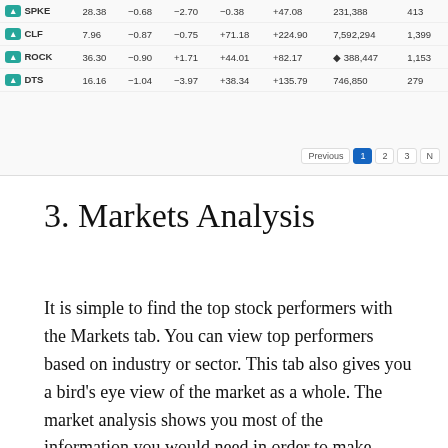[Figure (screenshot): Stock market table screenshot showing rows for SPKE, CLF, ROCK, and DTS tickers with columns for price, change values, and volume. Green badges on tickers. Pagination controls showing Previous, 1, 2, 3, N at bottom right.]
3. Markets Analysis
It is simple to find the top stock performers with the Markets tab. You can view top performers based on industry or sector. This tab also gives you a bird's eye view of the market as a whole. The market analysis shows you most of the information you would need in order to make strategic investing decisions.